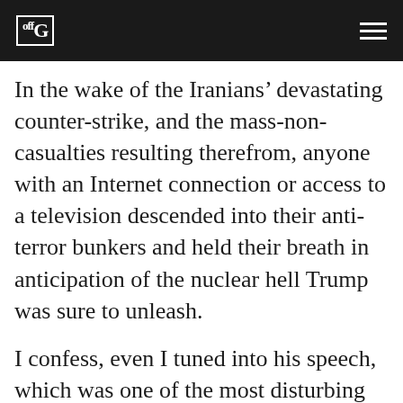offG
In the wake of the Iranians’ devastating counter-strike, and the mass-non-casualties resulting therefrom, anyone with an Internet connection or access to a television descended into their anti-terror bunkers and held their breath in anticipation of the nuclear hell Trump was sure to unleash.
I confess, even I tuned into his speech, which was one of the most disturbing public spectacles I have ever witnessed.
Trump burst through the doors of the White